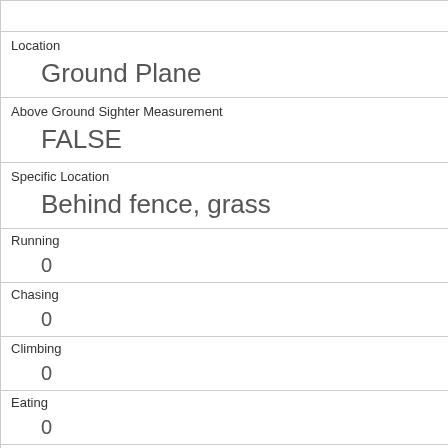|  |  |
| Location | Ground Plane |
| Above Ground Sighter Measurement | FALSE |
| Specific Location | Behind fence, grass |
| Running | 0 |
| Chasing | 0 |
| Climbing | 0 |
| Eating | 0 |
| Foraging | 1 |
| Other Activities |  |
| Kuks |  |